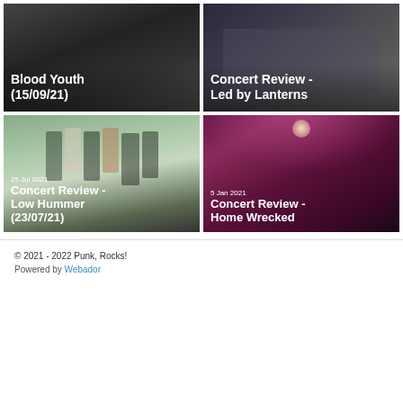[Figure (photo): Concert photo - Blood Youth (15/09/21), dark indoor venue]
[Figure (photo): Concert photo - Concert Review - Led by Lanterns, dark photo]
[Figure (photo): Group photo of band for Concert Review - Low Hummer (23/07/21), dated 25 Jul 2021]
[Figure (photo): Band photo under pink lights for Concert Review - Home Wrecked, dated 5 Jan 2021]
© 2021 - 2022 Punk, Rocks! Powered by Webador